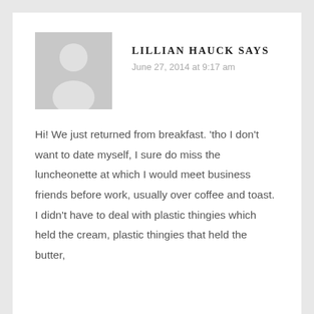[Figure (illustration): Gray placeholder avatar silhouette of a person on gray background]
LILLIAN HAUCK SAYS
June 27, 2014 at 9:17 am
Hi! We just returned from breakfast. 'tho I don't want to date myself, I sure do miss the luncheonette at which I would meet business friends before work, usually over coffee and toast. I didn't have to deal with plastic thingies which held the cream, plastic thingies that held the butter,